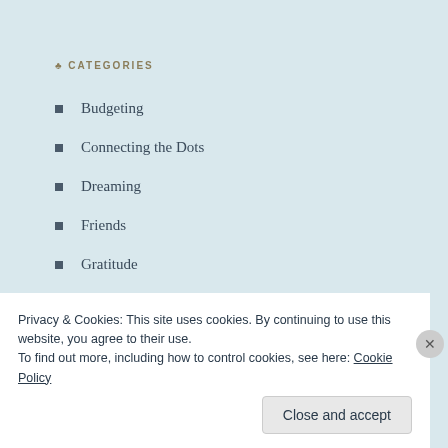CATEGORIES
Budgeting
Connecting the Dots
Dreaming
Friends
Gratitude
Grief
Making progress
New Biz
Privacy & Cookies: This site uses cookies. By continuing to use this website, you agree to their use.
To find out more, including how to control cookies, see here: Cookie Policy
Close and accept